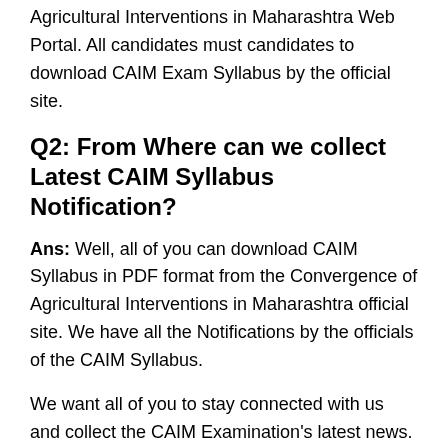Agricultural Interventions in Maharashtra Web Portal. All candidates must candidates to download CAIM Exam Syllabus by the official site.
Q2: From Where can we collect Latest CAIM Syllabus Notification?
Ans: Well, all of you can download CAIM Syllabus in PDF format from the Convergence of Agricultural Interventions in Maharashtra official site. We have all the Notifications by the officials of the CAIM Syllabus.
We want all of you to stay connected with us and collect the CAIM Examination's latest news. There is no doubt CAIM Exam will be challenging for all candidates, so be prepared for that.
Q3: What is the official releasing Date